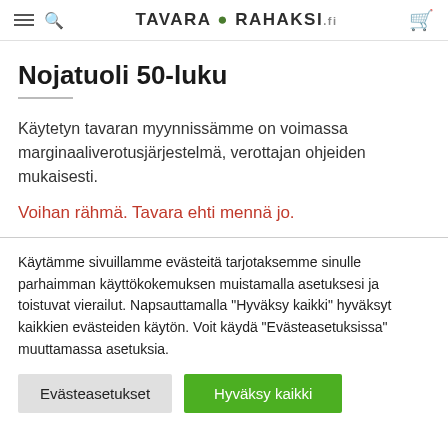TAVARA RAHAKSI
Nojatuoli 50-luku
Käytetyn tavaran myynnissämme on voimassa marginaaliverotusjärjestelmä, verottajan ohjeiden mukaisesti.
Voihan rähmä. Tavara ehti mennä jo.
Käytämme sivuillamme evästeitä tarjotaksemme sinulle parhaimman käyttökokemuksen muistamalla asetuksesi ja toistuvat vierailut. Napsauttamalla "Hyväksy kaikki" hyväksyt kaikkien evästeiden käytön. Voit käydä "Evästeasetuksissa" muuttamassa asetuksia.
Evästeasetukset
Hyväksy kaikki